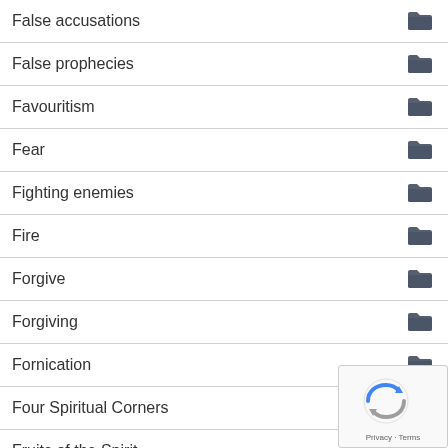False accusations
False prophecies
Favouritism
Fear
Fighting enemies
Fire
Forgive
Forgiving
Fornication
Four Spiritual Corners
Fruits of the Spirit
Giving Up